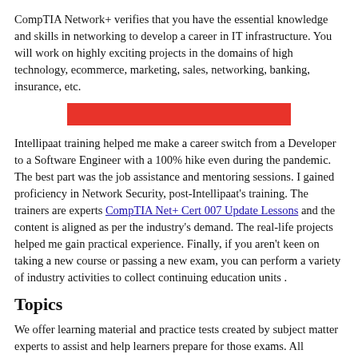CompTIA Network+ verifies that you have the essential knowledge and skills in networking to develop a career in IT infrastructure. You will work on highly exciting projects in the domains of high technology, ecommerce, marketing, sales, networking, banking, insurance, etc.
[Figure (other): Red horizontal banner/button bar]
Intellipaat training helped me make a career switch from a Developer to a Software Engineer with a 100% hike even during the pandemic. The best part was the job assistance and mentoring sessions. I gained proficiency in Network Security, post-Intellipaat's training. The trainers are experts CompTIA Net+ Cert 007 Update Lessons and the content is aligned as per the industry's demand. The real-life projects helped me gain practical experience. Finally, if you aren't keen on taking a new course or passing a new exam, you can perform a variety of industry activities to collect continuing education units .
Topics
We offer learning material and practice tests created by subject matter experts to assist and help learners prepare for those exams. All certifications based on the website are accredited by the